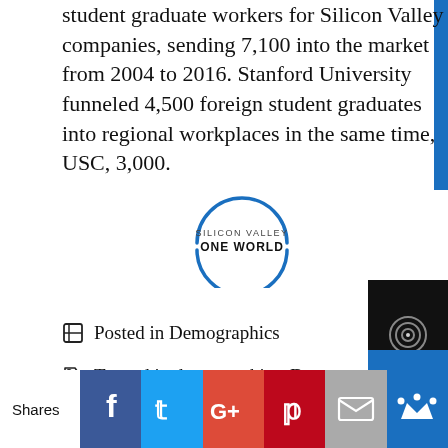student graduate workers for Silicon Valley companies, sending 7,100 into the market from 2004 to 2016. Stanford University funneled 4,500 foreign student graduates into regional workplaces in the same time, USC, 3,000.
[Figure (logo): Silicon Valley One World circular logo with blue arc rings and bold text]
Posted in Demographics
Tagged in demographics, Demographics, Foreign Student workers, H-1B, Immigration, OPT, Optional Practical Training, Pew Research Center, San Jose State University, Silicon Valley, Stanford University, University of Southern California